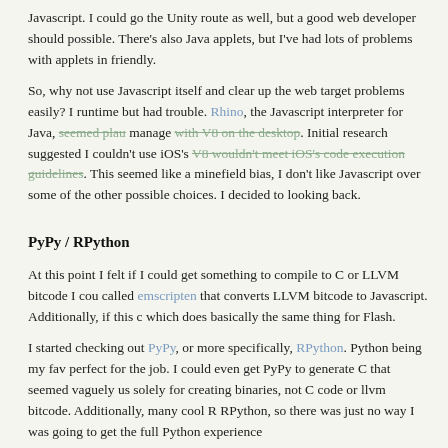Javascript. I could go the Unity route as well, but a good web developer should possible. There's also Java applets, but I've had lots of problems with applets in friendly.
So, why not use Javascript itself and clear up the web target problems easily? I runtime but had trouble. Rhino, the Javascript interpreter for Java, seemed plau manage with V8 on the desktop. Initial research suggested I couldn't use iOS's V8 wouldn't meet iOS's code execution guidelines. This seemed like a minefield bias, I don't like Javascript over some of the other possible choices. I decided to looking back.
PyPy / RPython
At this point I felt if I could get something to compile to C or LLVM bitcode I cou called emscripten that converts LLVM bitcode to Javascript. Additionally, if this c which does basically the same thing for Flash.
I started checking out PyPy, or more specifically, RPython. Python being my fav perfect for the job. I could even get PyPy to generate C that seemed vaguely us solely for creating binaries, not C code or llvm bitcode. Additionally, many cool R RPython, so there was just no way I was going to get the full Python experience
Ruby